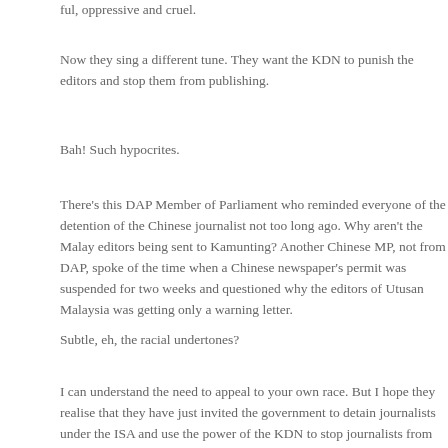ful, oppressive and cruel.
Now they sing a different tune. They want the KDN to punish the editors and stop them from publishing.
Bah! Such hypocrites.
There's this DAP Member of Parliament who reminded everyone of the detention of the Chinese journalist not too long ago. Why aren't the Malay editors being sent to Kamunting? Another Chinese MP, not from DAP, spoke of the time when a Chinese newspaper's permit was suspended for two weeks and questioned why the editors of Utusan Malaysia was getting only a warning letter.
Subtle, eh, the racial undertones?
I can understand the need to appeal to your own race. But I hope they realise that they have just invited the government to detain journalists under the ISA and use the power of the KDN to stop journalists from publishing. Next time the authorities shut down portals or party organs, citing Seditions Act or OSA or one of the many other laws, remind them that they asked for it.